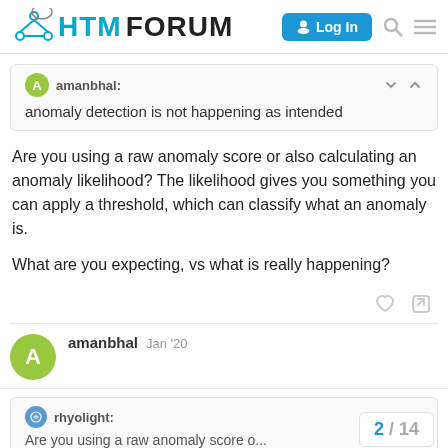HTM FORUM  Log In
amanbhal: anomaly detection is not happening as intended
Are you using a raw anomaly score or also calculating an anomaly likelihood? The likelihood gives you something you can apply a threshold, which can classify what an anomaly is.

What are you expecting, vs what is really happening?
amanbhal  Jan '20
rhyolight: Are you using a raw anomaly score o...
2 / 14